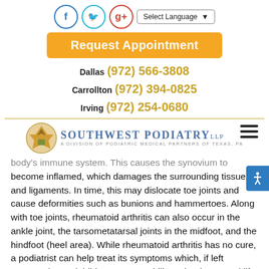[Figure (logo): Social media icons (Facebook, Twitter, Google+) and Select Language dropdown]
[Figure (other): Orange 'Request Appointment' button]
Dallas (972) 566-3808
Carrollton (972) 394-0825
Irving (972) 254-0680
[Figure (logo): Southwest Podiatry LLP logo - A Division of Podiatric Medical Partners of Texas, PA]
body's immune system. This causes the synovium to become inflamed, which damages the surrounding tissues and ligaments. In time, this may dislocate toe joints and cause deformities such as bunions and hammertoes. Along with toe joints, rheumatoid arthritis can also occur in the ankle joint, the tarsometatarsal joints in the midfoot, and the hindfoot (heel area). While rheumatoid arthritis has no cure, a podiatrist can help treat its symptoms which, if left untreated, may inhibit a person's ability to lead a normal life. Your podiatrist may prescribe special shoes, braces, and/or create custom orthotics to help restore functionality to the feet and ankles and relieve pain. Icing, gentle exercises, and physical therapy may also help relieve symptoms, as can